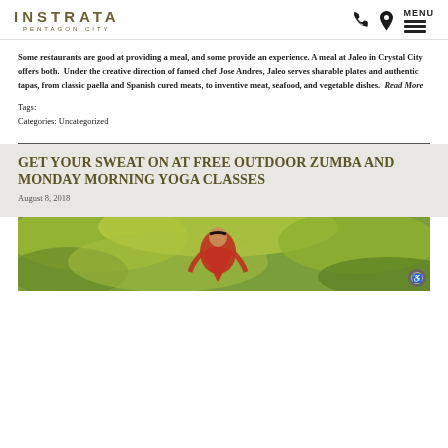INSTRATA PENTAGON CITY — navigation header with phone, location, and menu icons
Some restaurants are good at providing a meal, and some provide an experience. A meal at Jaleo in Crystal City offers both. Under the creative direction of famed chef Jose Andres, Jaleo serves sharable plates and authentic tapas, from classic paella and Spanish cured meats, to inventive meat, seafood, and vegetable dishes. Read More
Tags:
Categories: Uncategorized
GET YOUR SWEAT ON AT FREE OUTDOOR ZUMBA AND MONDAY MORNING YOGA CLASSES
August 8, 2018
[Figure (photo): Outdoor yoga or dance class photo showing a person in a red outfit among green foliage background]